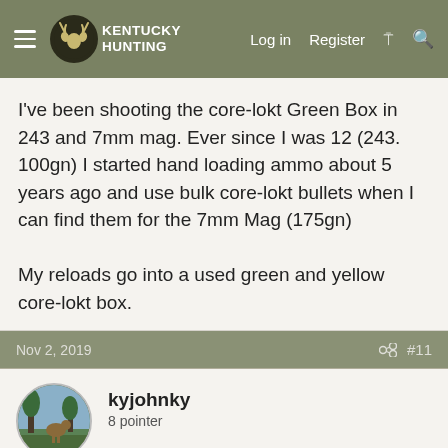Kentucky Hunting | Log in | Register
I've been shooting the core-lokt Green Box in 243 and 7mm mag. Ever since I was 12 (243. 100gn) I started hand loading ammo about 5 years ago and use bulk core-lokt bullets when I can find them for the 7mm Mag (175gn)

My reloads go into a used green and yellow core-lokt box.
Nov 2, 2019  #11
kyjohnky
8 pointer
150 gr sp in the 30-06 since the early 90's
Nov 2, 2019  #12